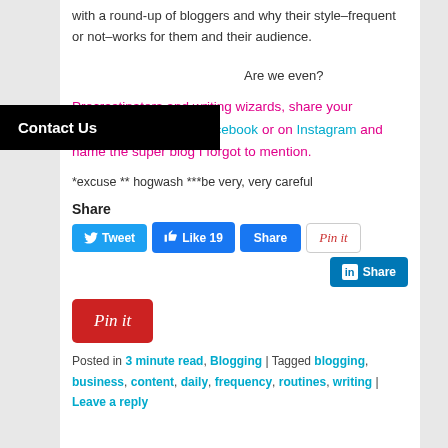with a round-up of bloggers and why their style–frequent or not–works for them and their audience.
Are we even?
Procrastinators and writing wizards, share your comments below, on Facebook or on Instagram and name the super blog I forgot to mention.
*excuse ** hogwash ***be very, very careful
Share
[Figure (screenshot): Social share buttons: Tweet, Like 19, Share, Pin it, LinkedIn Share]
[Figure (logo): Large red Pin it button]
Posted in 3 minute read, Blogging | Tagged blogging, business, content, daily, frequency, routines, writing | Leave a reply